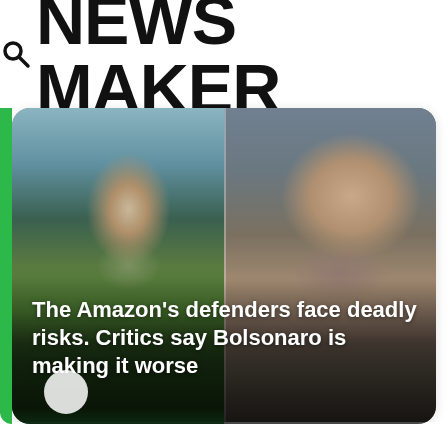NEWS MAKER
[Figure (photo): Split composite photo: left side shows a man wearing a green shirt and grey cap outdoors in a natural setting; right side shows a close-up of a man wearing glasses outdoors.]
The Amazon's defenders face deadly risks. Critics say Bolsonaro is making it worse